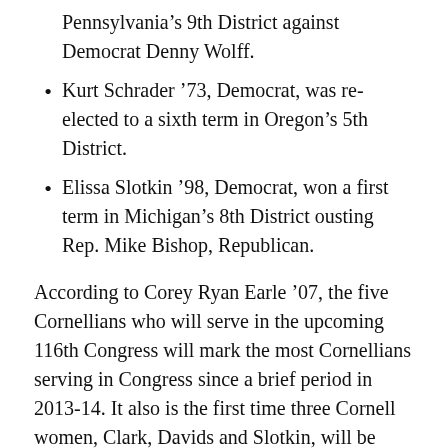Pennsylvania's 9th District against Democrat Denny Wolff.
Kurt Schrader '73, Democrat, was re-elected to a sixth term in Oregon's 5th District.
Elissa Slotkin '98, Democrat, won a first term in Michigan's 8th District ousting Rep. Mike Bishop, Republican.
According to Corey Ryan Earle '07, the five Cornellians who will serve in the upcoming 116th Congress will mark the most Cornellians serving in Congress since a brief period in 2013-14. It also is the first time three Cornell women, Clark, Davids and Slotkin, will be serving in Congress, he said.